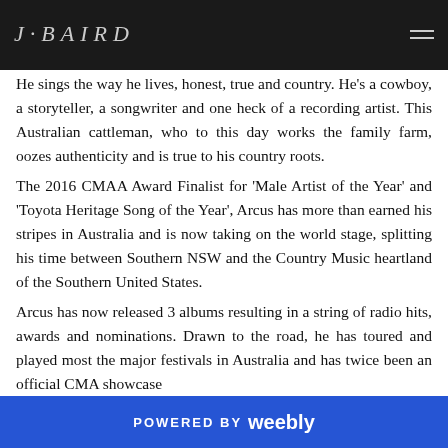J·BAIRD
He sings the way he lives, honest, true and country. He's a cowboy, a storyteller, a songwriter and one heck of a recording artist. This Australian cattleman, who to this day works the family farm, oozes authenticity and is true to his country roots.
The 2016 CMAA Award Finalist for 'Male Artist of the Year' and 'Toyota Heritage Song of the Year', Arcus has more than earned his stripes in Australia and is now taking on the world stage, splitting his time between Southern NSW and the Country Music heartland of the Southern United States.
Arcus has now released 3 albums resulting in a string of radio hits, awards and nominations. Drawn to the road, he has toured and played most the major festivals in Australia and has twice been an official CMA showcase
POWERED BY weebly